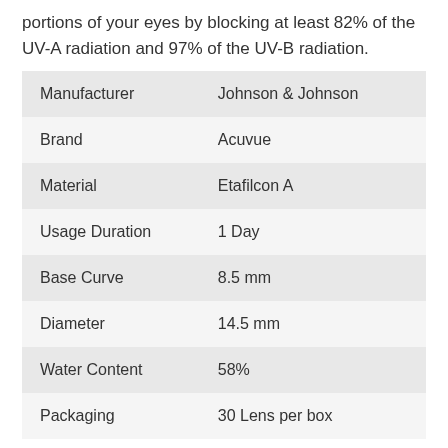portions of your eyes by blocking at least 82% of the UV-A radiation and 97% of the UV-B radiation.
| Manufacturer | Johnson & Johnson |
| Brand | Acuvue |
| Material | Etafilcon A |
| Usage Duration | 1 Day |
| Base Curve | 8.5 mm |
| Diameter | 14.5 mm |
| Water Content | 58% |
| Packaging | 30 Lens per box |